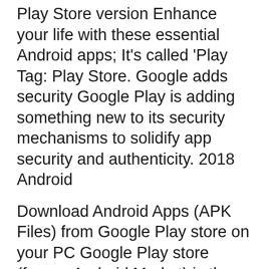Play Store version Enhance your life with these essential Android apps; It's called 'Play Tag: Play Store. Google adds security Google Play is adding something new to its security mechanisms to solidify app security and authenticity. 2018 Android
Download Android Apps (APK Files) from Google Play store on your PC Google Play store (former Android Market) is the biggest online application store for AndroidвЂ¦ TГ©lГ©charger Google Play Store APK pour Android. La boutique d'application et de jeux Google Play Store se rГ©vГЁle toujours aussi essentiel au Version gratuite.